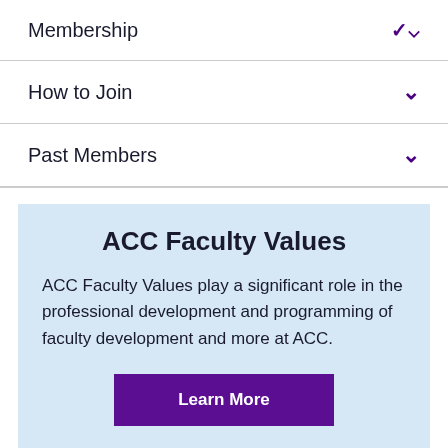Membership
How to Join
Past Members
ACC Faculty Values
ACC Faculty Values play a significant role in the professional development and programming of faculty development and more at ACC.
Learn More